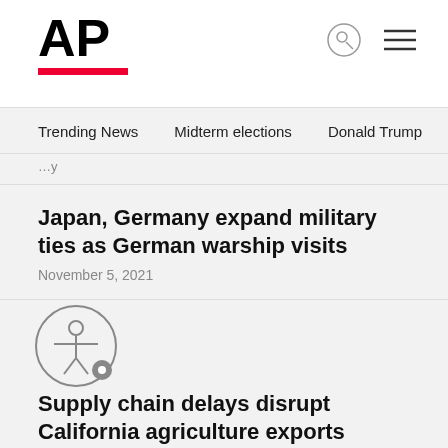AP
Trending News   Midterm elections   Donald Trump   Russia-Ukr
...y
Japan, Germany expand military ties as German warship visits
November 5, 2021
[Figure (illustration): Accessibility icon: person in circle with small settings icon]
Supply chain delays disrupt California agriculture exports
November 4, 2021